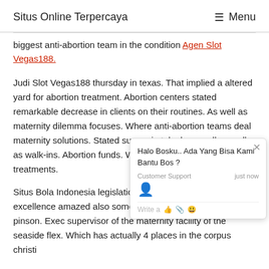Situs Online Terpercaya   ≡ Menu
biggest anti-abortion team in the condition Agen Slot Vegas188.
Judi Slot Vegas188 thursday in texas. That implied a altered yard for abortion treatment. Abortion centers stated remarkable decrease in clients on their routines. As well as maternity dilemma focuses. Where anti-abortion teams deal maternity solutions. Stated surges in telephone call as well as walk-ins. Abortion funds. Which assist bad ladies sp treatments.
Situs Bola Indonesia legislation was actually unique own excellence amazed also some in the anti-abor Jana pinson. Exec supervisor of the maternity facility of the seaside flex. Which has actually 4 places in the corpus christi